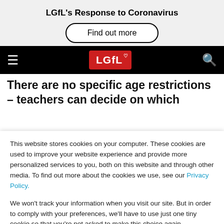LGfL's Response to Coronavirus
Find out more
[Figure (logo): LGfL logo on black navigation bar with hamburger menu and search icon]
There are no specific age restrictions – teachers can decide on which themes are suitable for their classes and
This website stores cookies on your computer. These cookies are used to improve your website experience and provide more personalized services to you, both on this website and through other media. To find out more about the cookies we use, see our Privacy Policy.
We won't track your information when you visit our site. But in order to comply with your preferences, we'll have to use just one tiny cookie so that you're not asked to make this choice again.
Accept
Decline